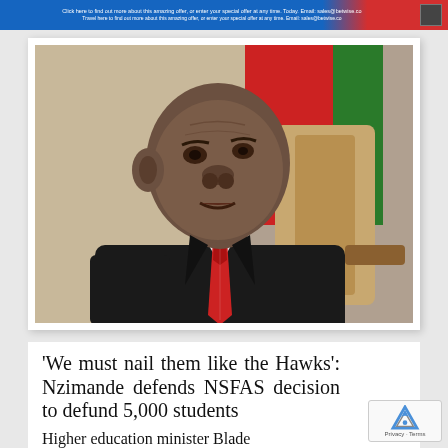Click here to find out more about this amazing offer, or enter your special offer at any time. Email: info@betwise.co
[Figure (photo): Photograph of Blade Nzimande, Higher Education Minister of South Africa, wearing a dark suit and red tie, seated in front of a red and green flag background]
'We must nail them like the Hawks': Nzimande defends NSFAS decision to defund 5,000 students
Higher education minister Blade